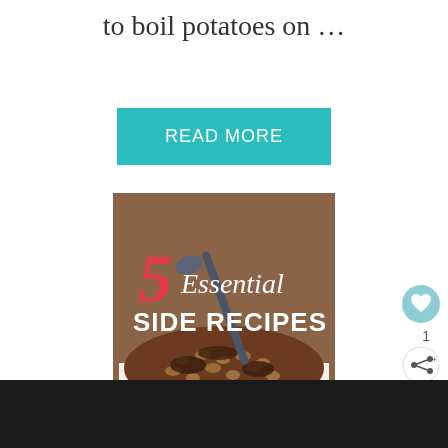to boil potatoes on …
READ MORE
[Figure (illustration): Promotional image showing '5 Essential SIDE RECIPES' with a photo of baked beans with mushrooms in a white bowl, with a spoon. The number 5 is in red script and 'Essential' in white script, 'SIDE RECIPES' in bold white capitals.]
[Figure (illustration): Heart icon button (teal circle) for saving/liking]
1
[Figure (illustration): Share button icon (white circle with share symbol)]